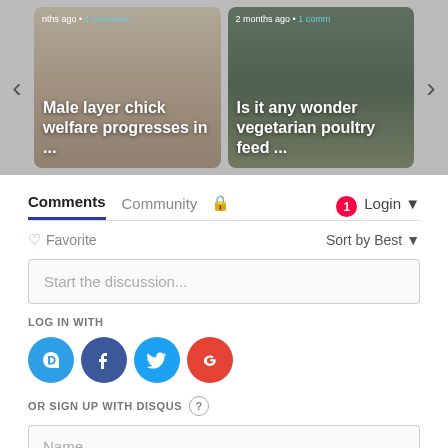[Figure (screenshot): Carousel with two article cards. Left card: 'Male layer chick welfare progresses in ...' with chick image. Right card: 'Is it any wonder vegetarian poultry feed ...' with duck image. Navigation arrows on sides.]
Comments  Community  🔒  1  Login ▾
♡ Favorite    Sort by Best ▾
Start the discussion...
LOG IN WITH
[Figure (logo): Social login icons: Disqus (blue D), Facebook (dark blue f), Twitter (light blue bird), Google (red G)]
OR SIGN UP WITH DISQUS ?
Name